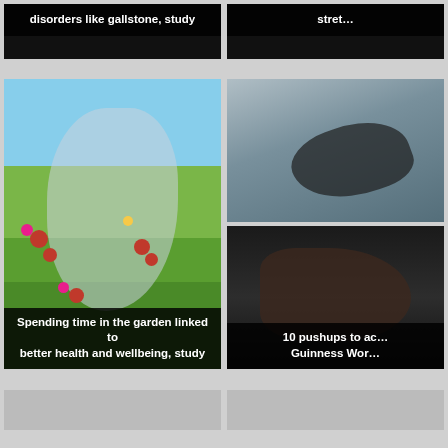[Figure (screenshot): Partial card at top-left, dark banner with white text about disorders like gallstone study]
disorders like gallstone, study
[Figure (screenshot): Partial card at top-right, dark banner with white text about stretching]
stret…
[Figure (photo): Woman gardening outdoors, smiling, surrounded by colorful flowers and pots, kneeling on grass]
Spending time in the garden linked to better health and wellbeing, study
[Figure (photo): Man performing a side plank or stretching exercise outdoors]
[Figure (photo): Person performing pushups close to ground, dark clothing]
10 pushups to ac… Guinness Wor…
[Figure (screenshot): Partial card bottom-left, grey/silver background]
[Figure (screenshot): Partial card bottom-right, grey/silver background]